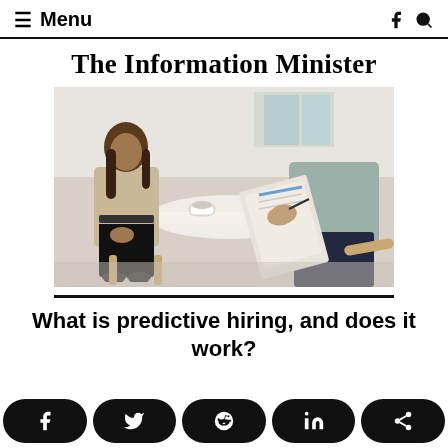Menu
The Information Minister
[Figure (photo): Two people sitting across from each other at a table during what appears to be a job interview or consultation. One person is holding a clipboard and writing, the other is seated across the table.]
What is predictive hiring, and does it work?
Social share buttons: Facebook, Twitter, Reddit, LinkedIn, Share